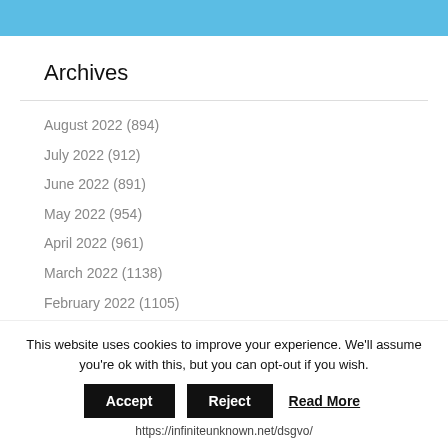Archives
August 2022 (894)
July 2022 (912)
June 2022 (891)
May 2022 (954)
April 2022 (961)
March 2022 (1138)
February 2022 (1105)
January 2022 (1209)
This website uses cookies to improve your experience. We'll assume you're ok with this, but you can opt-out if you wish.
https://infiniteunknown.net/dsgvo/